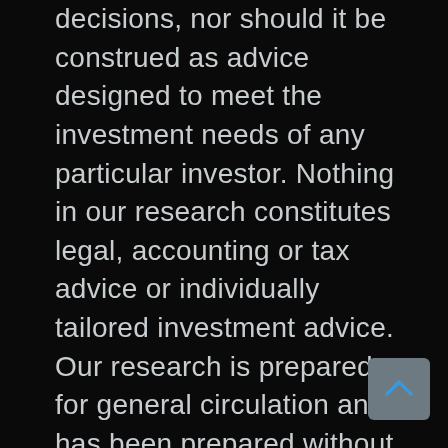decisions, nor should it be construed as advice designed to meet the investment needs of any particular investor. Nothing in our research constitutes legal, accounting or tax advice or individually tailored investment advice. Our research is prepared for general circulation and has been prepared without regard to the individual financial circumstances and objectives of persons who receive or obtain access to it. Our research is based on sources that we believe to be reliable. However, we do not make any representation or warranty, expressed or implied, as to the accuracy of our